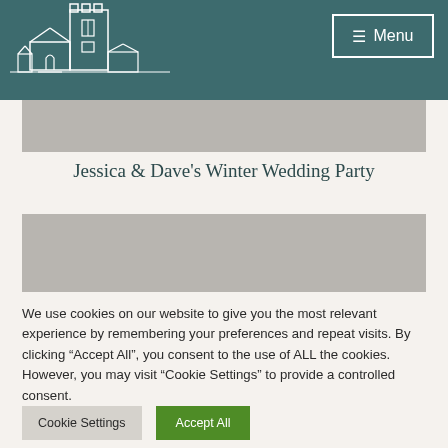[Figure (illustration): Church line drawing illustration in white on teal background, upper left of header]
[Figure (screenshot): Menu button with hamburger icon in top right of teal header]
[Figure (other): Gray placeholder image bar 1]
Jessica & Dave's Winter Wedding Party
[Figure (other): Gray placeholder image bar 2]
We use cookies on our website to give you the most relevant experience by remembering your preferences and repeat visits. By clicking "Accept All", you consent to the use of ALL the cookies. However, you may visit "Cookie Settings" to provide a controlled consent.
Cookie Settings | Accept All